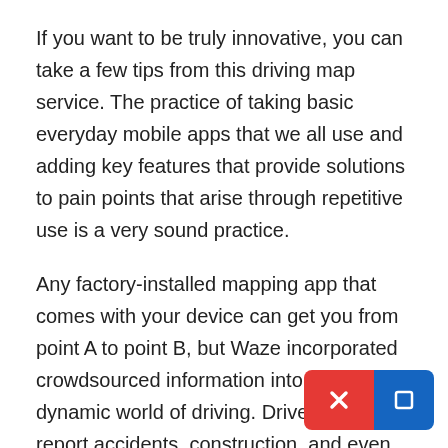If you want to be truly innovative, you can take a few tips from this driving map service. The practice of taking basic everyday mobile apps that we all use and adding key features that provide solutions to pain points that arise through repetitive use is a very sound practice.
Any factory-installed mapping app that comes with your device can get you from point A to point B, but Waze incorporated crowdsourced information into the dynamic world of driving. Drivers can report accidents, construction, and even speed traps that are integrated in real-time to live maps with your current position, letting commuters take alternate routes on the fly.
It also has social capabilities, where you can connect with drivers that take similar routes and share shortcuts or delays.